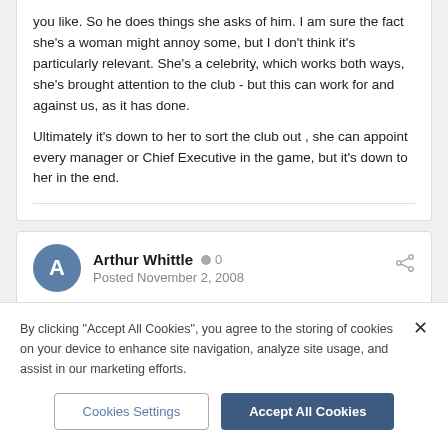you like. So he does things she asks of him. I am sure the fact she's a woman might annoy some, but I don't think it's particularly relevant. She's a celebrity, which works both ways, she's brought attention to the club - but this can work for and against us, as it has done.
Ultimately it's down to her to sort the club out , she can appoint every manager or Chief Executive in the game, but it's down to her in the end.
Arthur Whittle  0
Posted November 2, 2008
I dont Hate her, I just believe that she took the club as far as she could about 3 years ago, the club has slowly gone stale under her. at the end
By clicking "Accept All Cookies", you agree to the storing of cookies on your device to enhance site navigation, analyze site usage, and assist in our marketing efforts.